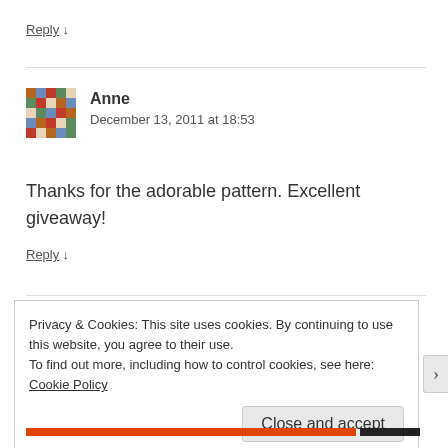Reply ↓
Anne
December 13, 2011 at 18:53
[Figure (photo): Avatar photo of Anne showing a colorful patchwork quilt pattern]
Thanks for the adorable pattern. Excellent giveaway!
Reply ↓
Privacy & Cookies: This site uses cookies. By continuing to use this website, you agree to their use.
To find out more, including how to control cookies, see here: Cookie Policy
Close and accept